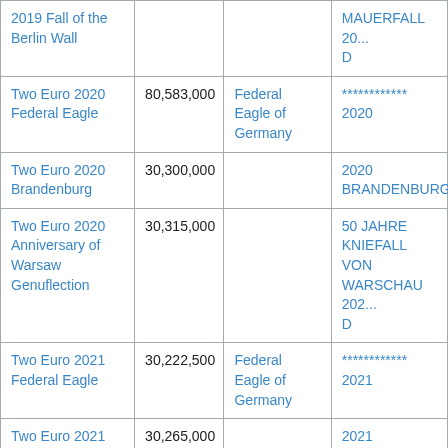| Name | Quantity | Obverse | Inscription |
| --- | --- | --- | --- |
| 2019 Fall of the Berlin Wall |  |  | MAUERFALL 20... D |
| Two Euro 2020 Federal Eagle | 80,583,000 | Federal Eagle of Germany | ************ 2020 |
| Two Euro 2020 Brandenburg | 30,300,000 |  | 2020 BRANDENBURG... |
| Two Euro 2020 Anniversary of Warsaw Genuflection | 30,315,000 |  | 50 JAHRE KNIEFALL VON WARSCHAU 202... D |
| Two Euro 2021 Federal Eagle | 30,222,500 | Federal Eagle of Germany | ************ 2021 |
| Two Euro 2021 Sachsen-Anhalt | 30,265,000 |  | 2021 SACHSEN-ANHALT D |